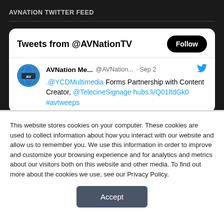AVNATION TWITTER FEED
[Figure (screenshot): Twitter feed widget showing tweets from @AVNationTV with a Follow button and a tweet from AVNation Me... @AVNation... Sep 2: .@YCDMultimedia Forms Partnership with Content Creator, @TelecineSignage hubs.li/Q01ltdGk0 #avtweeps]
This website stores cookies on your computer. These cookies are used to collect information about how you interact with our website and allow us to remember you. We use this information in order to improve and customize your browsing experience and for analytics and metrics about our visitors both on this website and other media. To find out more about the cookies we use, see our Privacy Policy.